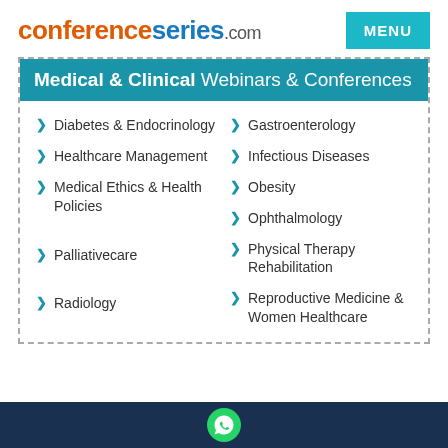conferenceseries.com
Medical & Clinical Webinars & Conferences
Diabetes & Endocrinology
Gastroenterology
Healthcare Management
Infectious Diseases
Medical Ethics & Health Policies
Obesity
Ophthalmology
Palliativecare
Physical Therapy Rehabilitation
Radiology
Reproductive Medicine & Women Healthcare